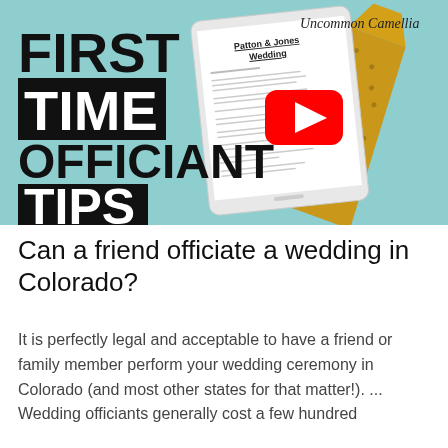[Figure (screenshot): YouTube video thumbnail with mint/teal background. Left side shows large bold black text: FIRST TIME OFFICIANT TIPS (with TIPS on black background). Center shows a tablet displaying a wedding script document titled 'Patton & Jones Wedding' with a red YouTube play button overlay. Right side shows a yellow polka-dot necktie. Top right has cursive brand name 'Uncommon Camellia'.]
Can a friend officiate a wedding in Colorado?
It is perfectly legal and acceptable to have a friend or family member perform your wedding ceremony in Colorado (and most other states for that matter!). ... Wedding officiants generally cost a few hundred